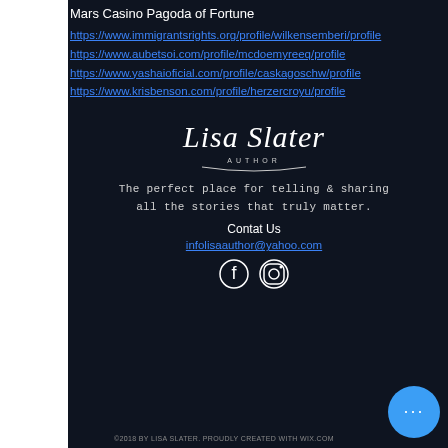Mars Casino Pagoda of Fortune
https://www.immigrantsrights.org/profile/wilkensemberi/profile
https://www.aubetsoi.com/profile/mcdoemyreeq/profile
https://www.yashaioficial.com/profile/caskagoschw/profile
https://www.krisbenson.com/profile/herzercroyu/profile
[Figure (logo): Lisa Slater Author cursive signature logo]
The perfect place for telling & sharing all the stories that truly matter.
Contat Us
infolisaauthor@yahoo.com
[Figure (illustration): Facebook and Instagram social media icons]
©2018 BY LISA SLATER. PROUDLY CREATED WITH WIX.COM